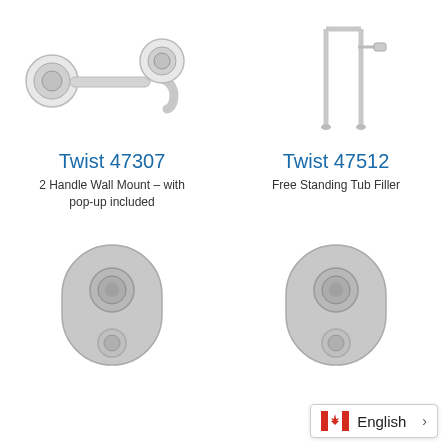[Figure (photo): Twist 47307 two handle wall mount faucet with spout and two round escutcheons, chrome finish]
[Figure (photo): Twist 47512 free standing tub filler, tall U-shaped chrome faucet]
Twist 47307
Twist 47512
2 Handle Wall Mount – with pop-up included
Free Standing Tub Filler
[Figure (photo): Chrome oval push-button thermostatic shower valve, bottom knob visible]
[Figure (photo): Chrome oval push-button thermostatic shower valve, bottom knob visible]
English